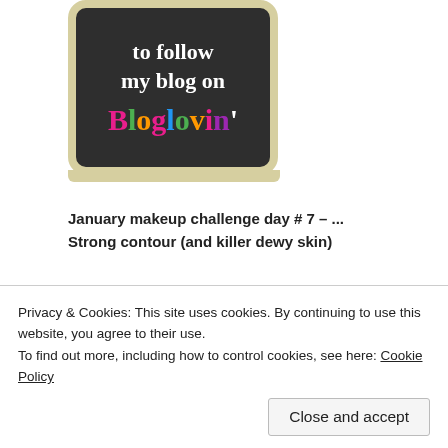[Figure (screenshot): Bloglovin chalkboard badge showing 'to follow my blog on Bloglovin'' with colorful lettering on dark background]
January makeup challenge day # 7 – ...
Strong contour (and killer dewy skin)
Had to do this look by @leighdicksonartistry that she recreated of magazing photo shoot (@taylorswift @wonderlandmag)
Privacy & Cookies: This site uses cookies. By continuing to use this website, you agree to their use.
To find out more, including how to control cookies, see here: Cookie Policy
Close and accept